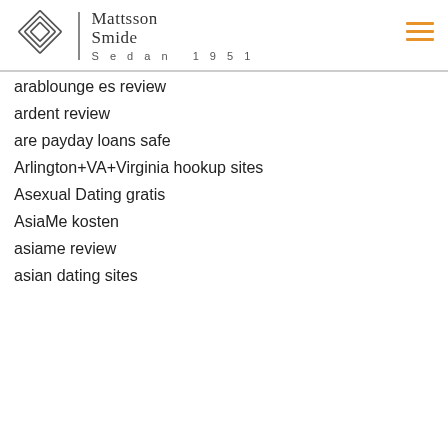[Figure (logo): Mattsson Smide logo with geometric diamond/square icon and text 'Mattsson Smide Sedan 1951']
arablounge es review
ardent review
are payday loans safe
Arlington+VA+Virginia hookup sites
Asexual Dating gratis
AsiaMe kosten
asiame review
asian dating sites